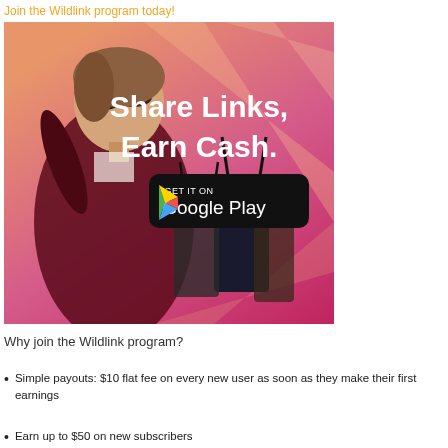Join the Wildlink program today!
[Figure (illustration): Wildlink promotional banner showing a woman with shopping bags, text 'Share Links, Earn Cash.' and a Google Play download button, with gradient background from orange/peach to magenta/pink]
Why join the Wildlink program?
Simple payouts: $10 flat fee on every new user as soon as they make their first earnings
Earn up to $50 on new subscribers